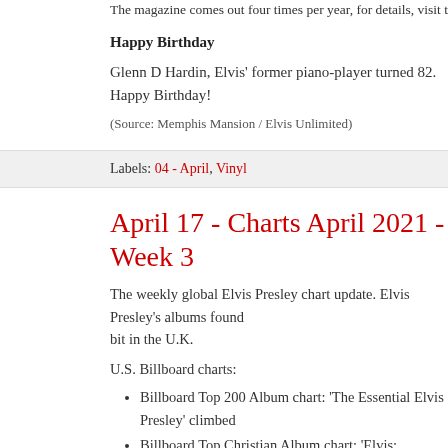The magazine comes out four times per year, for details, visit the >>> Mem
Happy Birthday
Glenn D Hardin, Elvis' former piano-player turned 82. Happy Birthday!
(Source: Memphis Mansion / Elvis Unlimited)
Labels: 04 - April, Vinyl
April 17 - Charts April 2021 - Week 3
The weekly global Elvis Presley chart update. Elvis Elvis Presley's albums found a bit in the U.K.
U.S. Billboard charts:
Billboard Top 200 Album chart: 'The Essential Elvis Presley' climbed
Billboard Top Christian Album chart: 'Elvis: Ultimate Gospel' climbed
Billboard Top Rock Album chart: 'The Essential Elvis Presley' climbed
Billboard Top Country Album chart: 'The Essential Elvis Presley' rem